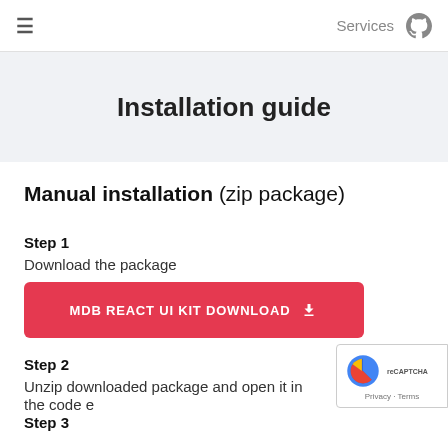≡  Services  [github icon]
Installation guide
Manual installation (zip package)
Step 1
Download the package
MDB REACT UI KIT DOWNLOAD ⬇
Step 2
Unzip downloaded package and open it in the code e
Step 3